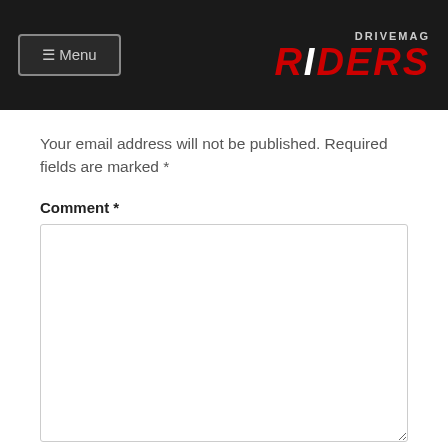≡ Menu | DRIVEMAG RIDERS
Your email address will not be published. Required fields are marked *
Comment *
Name *